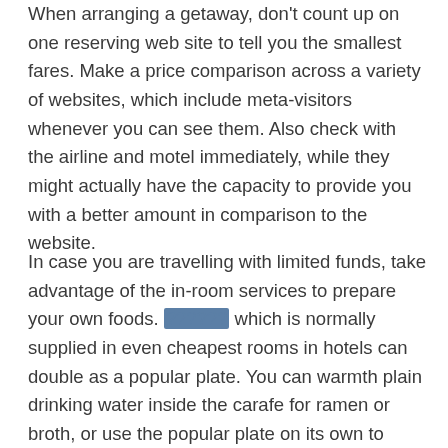When arranging a getaway, don't count up on one reserving web site to tell you the smallest fares. Make a price comparison across a variety of websites, which include meta-visitors whenever you can see them. Also check with the airline and motel immediately, while they might actually have the capacity to provide you with a better amount in comparison to the website.
In case you are travelling with limited funds, take advantage of the in-room services to prepare your own foods. ?????? which is normally supplied in even cheapest rooms in hotels can double as a popular plate. You can warmth plain drinking water inside the carafe for ramen or broth, or use the popular plate on its own to create sausage.